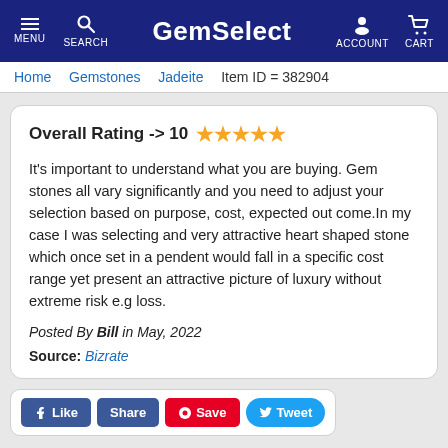GemSelect — MENU SEARCH ACCOUNT CART
Home > Gemstones > Jadeite > Item ID = 382904
Overall Rating -> 10 ★★★★★
It's important to understand what you are buying. Gem stones all vary significantly and you need to adjust your selection based on purpose, cost, expected out come.In my case I was selecting and very attractive heart shaped stone which once set in a pendent would fall in a specific cost range yet present an attractive picture of luxury without extreme risk e.g loss.
Posted By Bill in May, 2022
Source: Bizrate